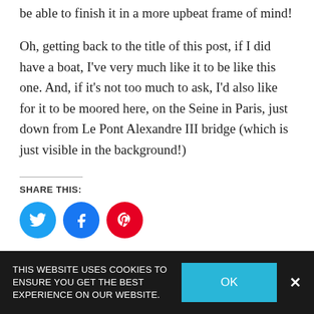be able to finish it in a more upbeat frame of mind!
Oh, getting back to the title of this post, if I did have a boat, I've very much like it to be like this one. And, if it's not too much to ask, I'd also like for it to be moored here, on the Seine in Paris, just down from Le Pont Alexandre III bridge (which is just visible in the background!)
SHARE THIS:
[Figure (infographic): Three social media icon buttons: Twitter (blue), Facebook (blue), Pinterest (red)]
THIS WEBSITE USES COOKIES TO ENSURE YOU GET THE BEST EXPERIENCE ON OUR WEBSITE.